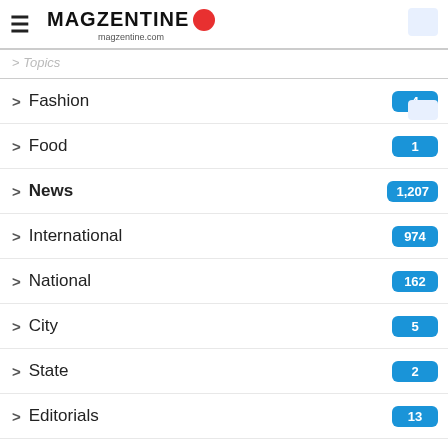MAGZENTINE magzentine.com
Fashion 4
Food 1
News 1,207
International 974
National 162
City 5
State 2
Editorials 13
Opinions 9
Sports
IPL 23
Cricket 6